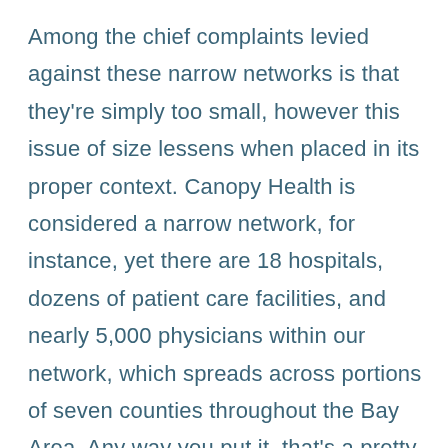Among the chief complaints levied against these narrow networks is that they're simply too small, however this issue of size lessens when placed in its proper context. Canopy Health is considered a narrow network, for instance, yet there are 18 hospitals, dozens of patient care facilities, and nearly 5,000 physicians within our network, which spreads across portions of seven counties throughout the Bay Area. Any way you put it, that's a pretty robust healthcare network.

Another complaint lobbed against narrow networks